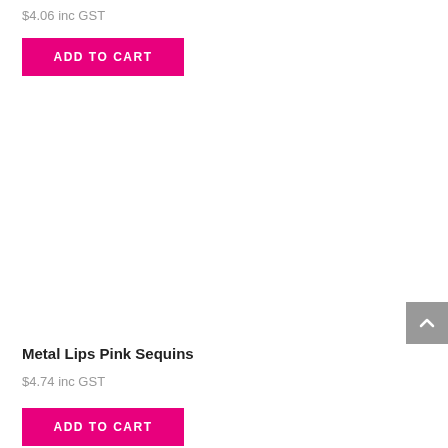$4.06 inc GST
ADD TO CART
Metal Lips Pink Sequins
$4.74 inc GST
ADD TO CART